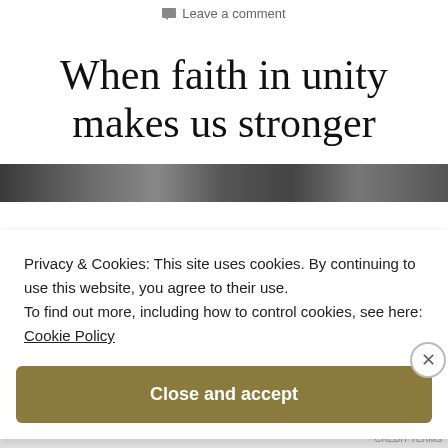Leave a comment
When faith in unity makes us stronger
[Figure (photo): Black and white decorative image strip showing ornate coin or seal engravings]
Privacy & Cookies: This site uses cookies. By continuing to use this website, you agree to their use.
To find out more, including how to control cookies, see here: Cookie Policy
Close and accept